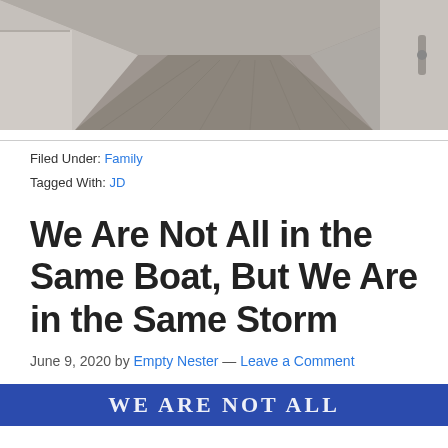[Figure (photo): Interior hallway/corridor with gray tile floor and white walls, viewed from one end]
Filed Under: Family
Tagged With: JD
We Are Not All in the Same Boat, But We Are in the Same Storm
June 9, 2020 by Empty Nester — Leave a Comment
[Figure (photo): Blue banner image with white text reading WE ARE NOT ALL]